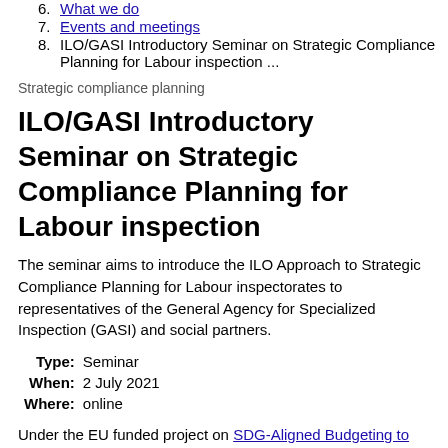6. What we do
7. Events and meetings
8. ILO/GASI Introductory Seminar on Strategic Compliance Planning for Labour inspection ...
Strategic compliance planning
ILO/GASI Introductory Seminar on Strategic Compliance Planning for Labour inspection
The seminar aims to introduce the ILO Approach to Strategic Compliance Planning for Labour inspectorates to representatives of the General Agency for Specialized Inspection (GASI) and social partners.
| Field | Value |
| --- | --- |
| Type: | Seminar |
| When: | 2 July 2021 |
| Where: | online |
Under the EU funded project on SDG-Aligned Budgeting to Transform Employment in Mongolia (MNS/20/01/UNP) ... (continues)